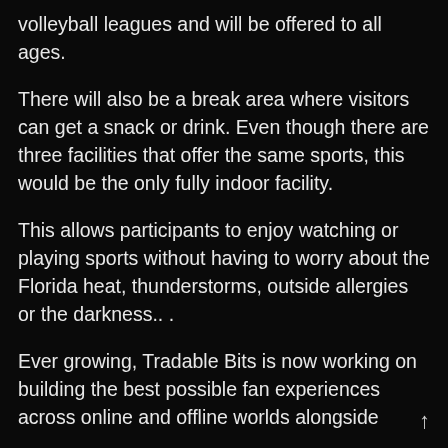volleyball leagues and will be offered to all ages.
There will also be a break area where visitors can get a snack or drink. Even though there are three facilities that offer the same sports, this would be the only fully indoor facility.
This allows participants to enjoy watching or playing sports without having to worry about the Florida heat, thunderstorms, outside allergies or the darkness.. .
Ever growing, Tradable Bits is now working on building the best possible fan experiences across online and offline worlds alongside